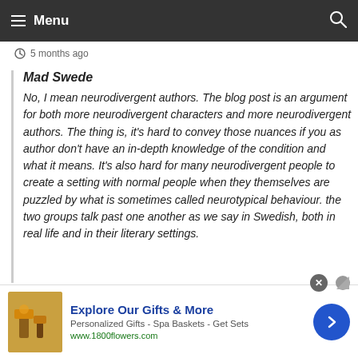Menu
5 months ago
Mad Swede
No, I mean neurodivergent authors. The blog post is an argument for both more neurodivergent characters and more neurodivergent authors. The thing is, it's hard to convey those nuances if you as author don't have an in-depth knowledge of the condition and what it means. It's also hard for many neurodivergent people to create a setting with normal people when they themselves are puzzled by what is sometimes called neurotypical behaviour. the two groups talk past one another as we say in Swedish, both in real life and in their literary settings.
Explore Our Gifts & More
Personalized Gifts - Spa Baskets - Get Sets
www.1800flowers.com